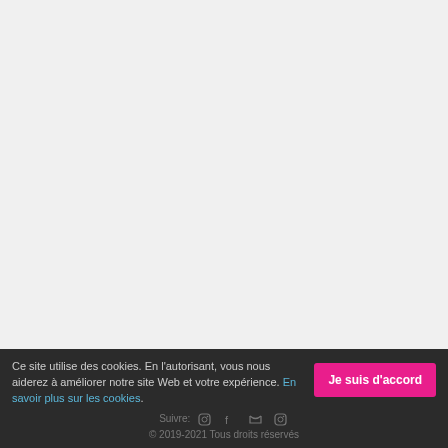Ce site utilise des cookies. En l'autorisant, vous nous aiderez à améliorer notre site Web et votre expérience. En savoir plus sur les cookies. Je suis d'accord
Suivre: © 2019-2021 Tous droits réservés